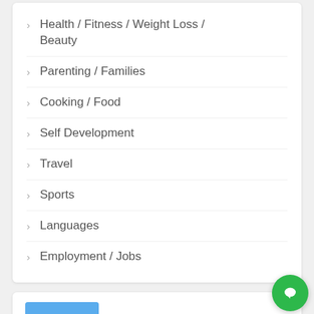Health / Fitness / Weight Loss / Beauty
Parenting / Families
Cooking / Food
Self Development
Travel
Sports
Languages
Employment / Jobs
[Figure (photo): Two young women/girls in white t-shirts sitting together]
Better Success ...
$20.4